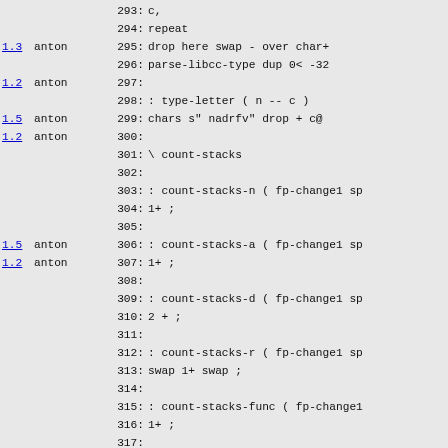Source code listing lines 293-322 with version annotations and author names
293:          c,
294:     repeat
1.3  anton  295:     drop here swap - over char+
296:     parse-libcc-type dup 0< -32
1.2  anton  297:
298: : type-letter ( n -- c )
1.5  anton  299:     chars s" nadrfv" drop + c@
1.2  anton  300:
301: \ count-stacks
302:
303: : count-stacks-n ( fp-change1 sp
304:     1+ ;
305:
1.5  anton  306: : count-stacks-a ( fp-change1 sp
1.2  anton  307:     1+ ;
308:
309: : count-stacks-d ( fp-change1 sp
310:     2 + ;
311:
312: : count-stacks-r ( fp-change1 sp
313:     swap 1+ swap ;
314:
315: : count-stacks-func ( fp-change1
316:     1+ ;
317:
318: : count-stacks-void ( fp-change1
319: ;
320:
321: create count-stacks-types
322: ' count-stacks-n .